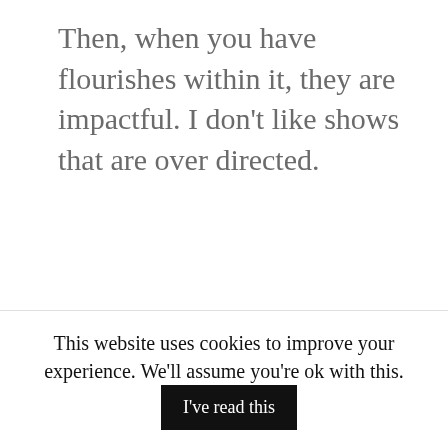Then, when you have flourishes within it, they are impactful. I don't like shows that are over directed.
Shooting a television show is hardcore.
This website uses cookies to improve your experience. We'll assume you're ok with this. I've read this